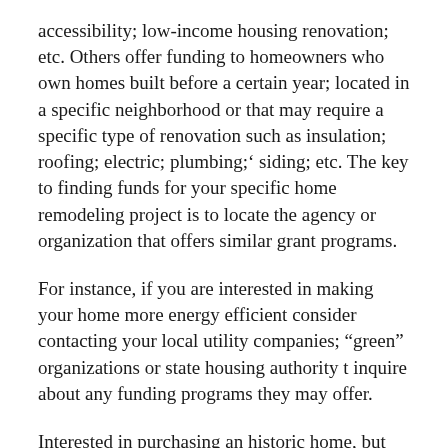accessibility; low-income housing renovation; etc. Others offer funding to homeowners who own homes built before a certain year; located in a specific neighborhood or that may require a specific type of renovation such as insulation; roofing; electric; plumbing;' siding; etc. The key to finding funds for your specific home remodeling project is to locate the agency or organization that offers similar grant programs.
For instance, if you are interested in making your home more energy efficient consider contacting your local utility companies; “green” organizations or state housing authority t inquire about any funding programs they may offer.
Interested in purchasing an historic home, but not sure you’re wallet is ready to handle such an expensive revitalization project? Talk to your local and state